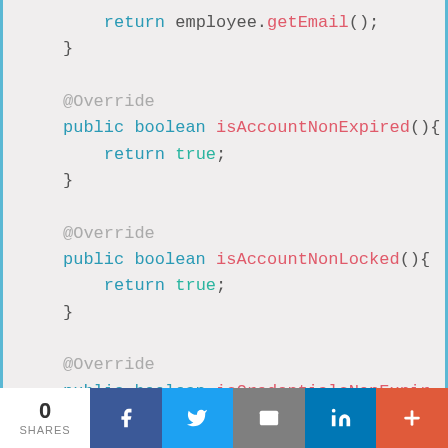return employee.getEmail();
}

@Override
public boolean isAccountNonExpired() {
    return true;
}

@Override
public boolean isAccountNonLocked() {
    return true;
}

@Override
public boolean isCredentialsNonExpir...
    return true;
}
[Figure (other): Social sharing bar with 0 SHARES count, Facebook, Twitter, Email, LinkedIn, and plus buttons]